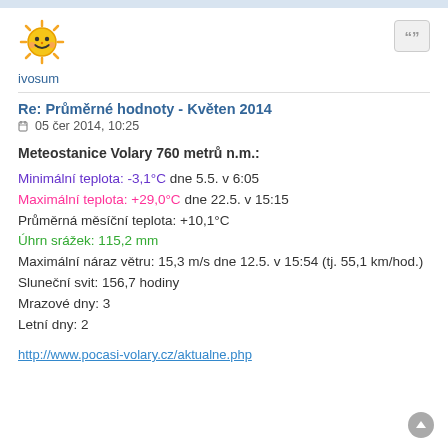[Figure (illustration): Sun emoji avatar icon for user ivosum]
ivosum
Re: Průměrné hodnoty - Květen 2014
05 čer 2014, 10:25
Meteostanice Volary 760 metrů n.m.:
Minimální teplota: -3,1°C dne 5.5. v 6:05
Maximální teplota: +29,0°C dne 22.5. v 15:15
Průměrná měsíční teplota: +10,1°C
Úhrn srážek: 115,2 mm
Maximální náraz větru: 15,3 m/s dne 12.5. v 15:54 (tj. 55,1 km/hod.)
Sluneční svit: 156,7 hodiny
Mrazové dny: 3
Letní dny: 2
http://www.pocasi-volary.cz/aktualne.php